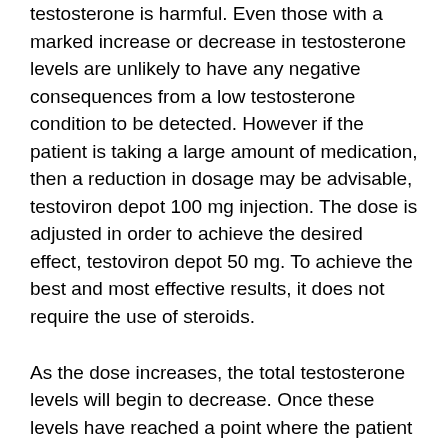testosterone is harmful. Even those with a marked increase or decrease in testosterone levels are unlikely to have any negative consequences from a low testosterone condition to be detected. However if the patient is taking a large amount of medication, then a reduction in dosage may be advisable, testoviron depot 100 mg injection. The dose is adjusted in order to achieve the desired effect, testoviron depot 50 mg. To achieve the best and most effective results, it does not require the use of steroids.
As the dose increases, the total testosterone levels will begin to decrease. Once these levels have reached a point where the patient can begin to feel the effects of the medication without any additional medication being required, it will then be time for a maintenance cycle. During the maintenance cycle, the patient does not want to go